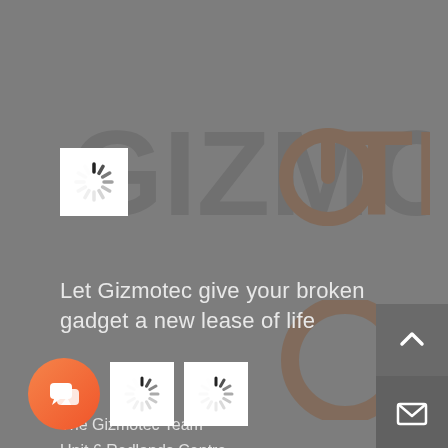[Figure (logo): Loading spinner icon in white box, top left]
[Figure (logo): Gizmotec watermark logo in background — large grey text GIZMOTEC with circular power icon]
Let Gizmotec give your broken gadget a new lease of life
The Gizmotec Team
Unit 6 Redlands Centre
Coulsdon
Surrey
CR5 2HT
[Figure (illustration): Row of bottom icons: orange chat button, two loading spinner squares, plus dark grey scroll-up and mail buttons on the right side]